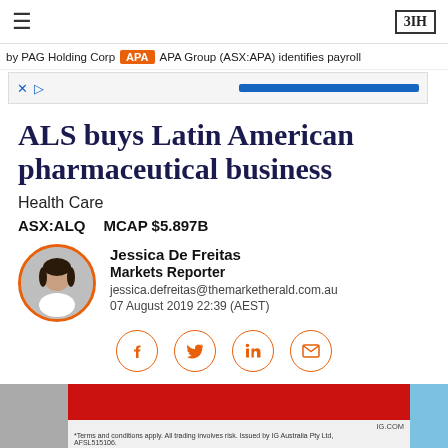≡   3IH
by PAG Holding Corp  APA  APA Group (ASX:APA) identifies payroll
[Figure (screenshot): Advertisement banner with X and play button icons and a blue call-to-action button]
ALS buys Latin American pharmaceutical business
Health Care
ASX:ALQ   MCAP $5.897B
[Figure (photo): Circular author photo of Jessica De Freitas with orange border]
Jessica De Freitas
Markets Reporter
jessica.defreitas@themarketherald.com.au
07 August 2019 22:39  (AEST)
[Figure (infographic): Social sharing buttons: Facebook, Twitter, LinkedIn, Email — orange circle outlines]
[Figure (screenshot): Bottom advertisement banner: red block with IG.com branding and fine print about terms and conditions]